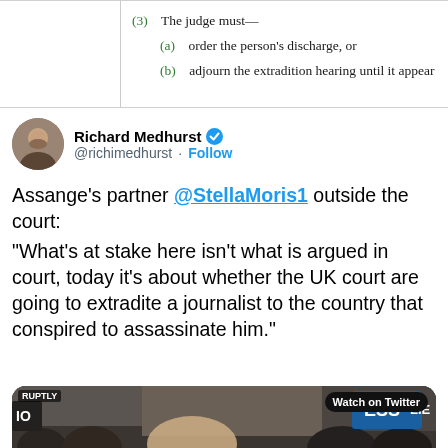(3) The judge must— (a) order the person's discharge, or (b) adjourn the extradition hearing until it appear
Richard Medhurst @richimedhurst · Follow
Assange's partner @StellaMoris1 outside the court:
"What's at stake here isn't what is argued in court, today it's about whether the UK court are going to extradite a journalist to the country that conspired to assassinate him."
[Figure (screenshot): Video thumbnail showing a woman speaking outside court with protesters, RUPTLY watermark, Watch on Twitter button, and play button overlay]